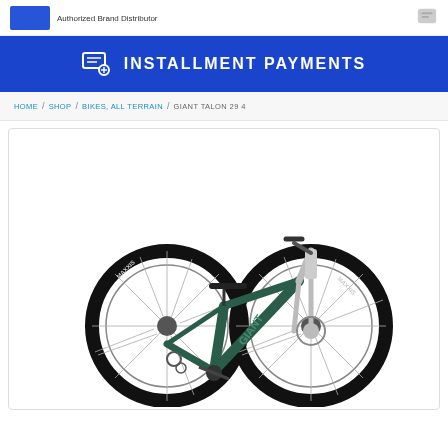Authorized Brand Distributor
INSTALLMENT PAYMENTS
HOME / SHOP / BIKES, ALL TERRAIN / GIANT TALON 29 4
[Figure (photo): Dark green Giant Talon 29 4 mountain bike with Maxxis tires, front suspension fork, and disc brakes, shown in profile view against a white background.]